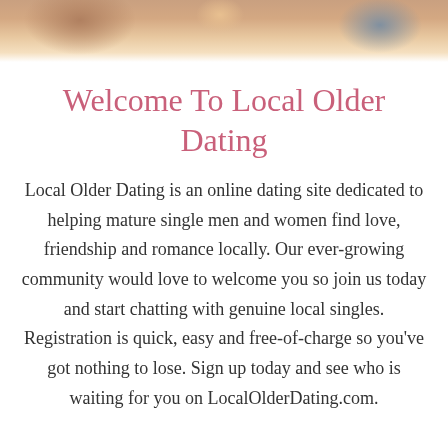[Figure (photo): Partial photo of two people at the top of the page, cropped to a narrow horizontal band showing torsos/shoulders]
Welcome To Local Older Dating
Local Older Dating is an online dating site dedicated to helping mature single men and women find love, friendship and romance locally. Our ever-growing community would love to welcome you so join us today and start chatting with genuine local singles. Registration is quick, easy and free-of-charge so you've got nothing to lose. Sign up today and see who is waiting for you on LocalOlderDating.com.